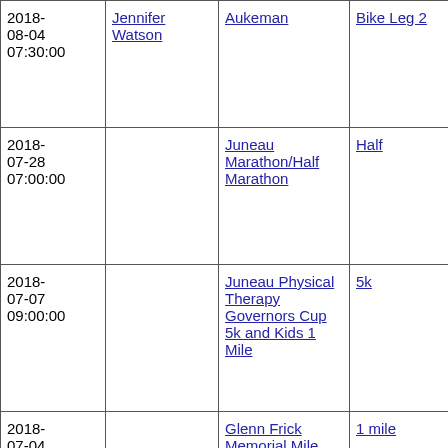| Date | Person | Event | Leg | Distance |
| --- | --- | --- | --- | --- |
| 2018-08-04 07:30:00 | Jennifer Watson | Aukeman | Bike Leg 2 | 19.00km |
| 2018-07-28 07:00:00 |  | Juneau Marathon/Half Marathon | Half | 13.10miles |
| 2018-07-07 09:00:00 |  | Juneau Physical Therapy Governors Cup 5k and Kids 1 Mile | 5k | 5.00km |
| 2018-07-04 09:45:00 |  | Glenn Frick Memorial Mile | 1 mile | 1.00miles |